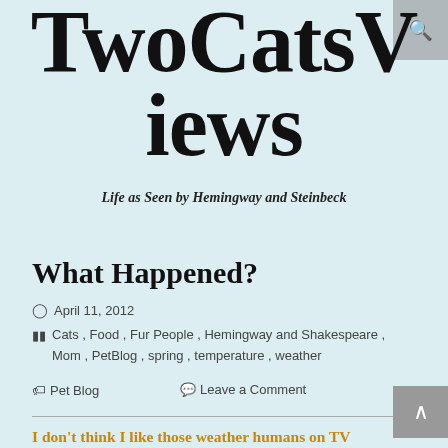TwoCatsViews
Life as Seen by Hemingway and Steinbeck
What Happened?
April 11, 2012
Cats , Food , Fur People , Hemingway and Shakespeare , Mom , PetBlog , spring , temperature , weather
Pet Blog   Leave a Comment
I don't think I like those weather humans on TV